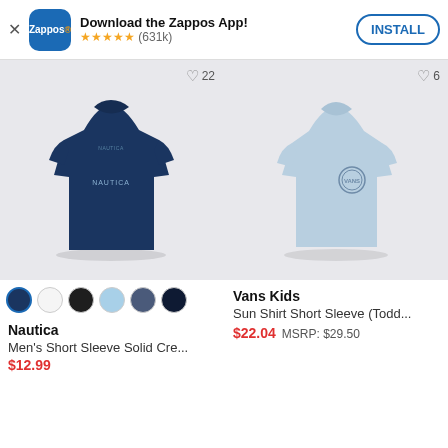Download the Zappos App! ★★★★★ (631k) INSTALL
[Figure (photo): Navy blue Nautica men's short sleeve t-shirt with NAUTICA logo on chest, on light gray background. Wishlist count: 22]
[Figure (photo): Light blue Vans Kids sun shirt short sleeve toddler t-shirt with Vans circle logo on chest, on light gray background. Wishlist count: 6]
Color swatches: navy (selected), white, black, light blue, indigo, dark navy
Vans Kids
Sun Shirt Short Sleeve (Todd...
$22.04  MSRP: $29.50
Nautica
Men's Short Sleeve Solid Cre...
$12.99